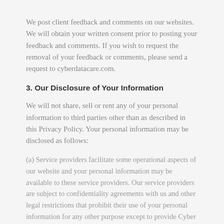We post client feedback and comments on our websites. We will obtain your written consent prior to posting your feedback and comments. If you wish to request the removal of your feedback or comments, please send a request to cyberdatacare.com.
3. Our Disclosure of Your Information
We will not share, sell or rent any of your personal information to third parties other than as described in this Privacy Policy. Your personal information may be disclosed as follows:
(a) Service providers facilitate some operational aspects of our website and your personal information may be available to these service providers. Our service providers are subject to confidentiality agreements with us and other legal restrictions that prohibit their use of your personal information for any other purpose except to provide Cyber Data Care with the services for which they have been contracted.